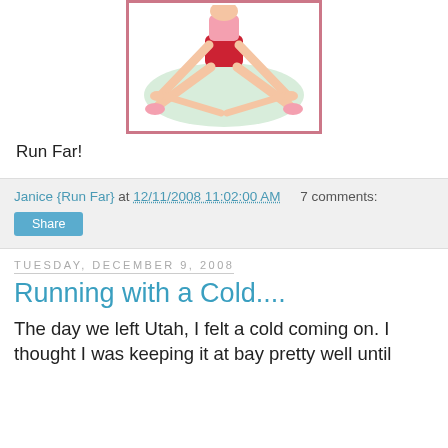[Figure (illustration): Cartoon illustration of a flexible person doing a seated forward bend / yoga stretch pose, wearing red shorts, with arms extended downward, inside a pink-bordered box with a light green oval background]
Run Far!
Janice {Run Far} at 12/11/2008 11:02:00 AM    7 comments:
Share
Tuesday, December 9, 2008
Running with a Cold....
The day we left Utah, I felt a cold coming on. I thought I was keeping it at bay pretty well until